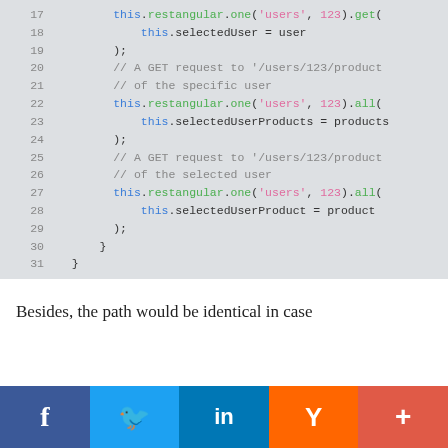[Figure (screenshot): Code block showing JavaScript lines 17-31 with syntax highlighting on a light gray background. Code uses Restangular API calls.]
Besides, the path would be identical in case
[Figure (other): Social share bar with Facebook, Twitter, LinkedIn, Hacker News (Y), and More (+) buttons]